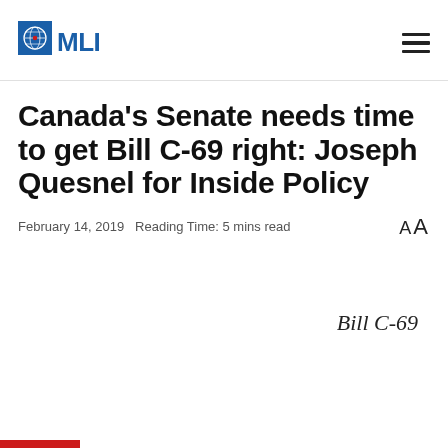MLI
Canada's Senate needs time to get Bill C-69 right: Joseph Quesnel for Inside Policy
February 14, 2019   Reading Time: 5 mins read
Bill C-69